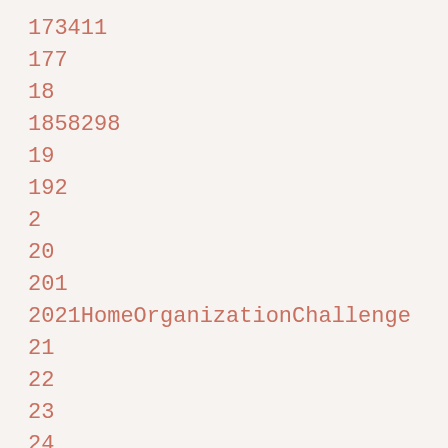173411
177
18
1858298
19
192
2
20
201
2021HomeOrganizationChallenge
21
22
23
24